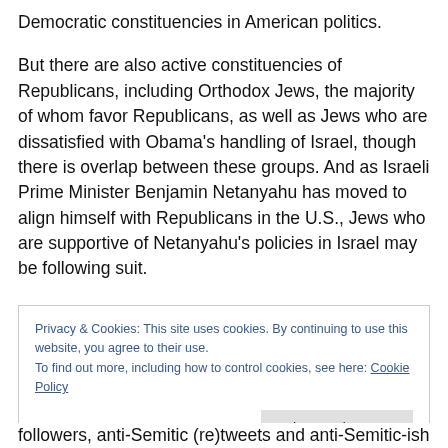Democratic constituencies in American politics.
But there are also active constituencies of Republicans, including Orthodox Jews, the majority of whom favor Republicans, as well as Jews who are dissatisfied with Obama's handling of Israel, though there is overlap between these groups. And as Israeli Prime Minister Benjamin Netanyahu has moved to align himself with Republicans in the U.S., Jews who are supportive of Netanyahu’s policies in Israel may be following suit.
Privacy & Cookies: This site uses cookies. By continuing to use this website, you agree to their use.
To find out more, including how to control cookies, see here: Cookie Policy
Close and accept
followers, anti-Semitic (re)tweets and anti-Semitic-ish